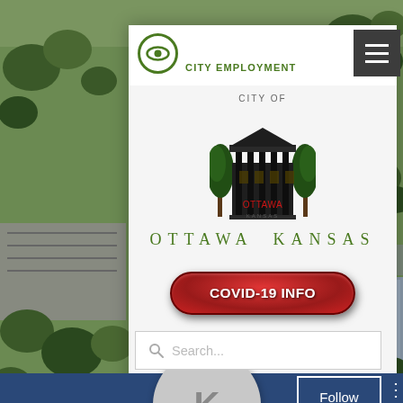[Figure (screenshot): Mobile website screenshot of City of Ottawa Kansas government website, showing aerial photo background, white header card with logo and navigation, COVID-19 info button, search bar, and dark blue social media section with Follow button and K profile icon.]
CITY EMPLOYMENT
[Figure (logo): City of Ottawa Kansas official seal/logo showing a government building with columns and trees, with text CITY OF OTTAWA KANSAS]
OTTAWA KANSAS
COVID-19 INFO
Search...
K
Follow